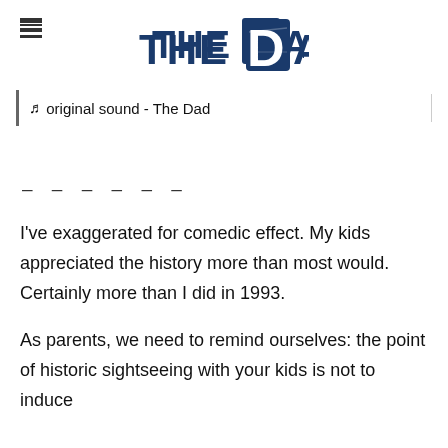THE DAD
♪ original sound - The Dad
– – – – – –
I've exaggerated for comedic effect. My kids appreciated the history more than most would. Certainly more than I did in 1993.
As parents, we need to remind ourselves: the point of historic sightseeing with your kids is not to induce